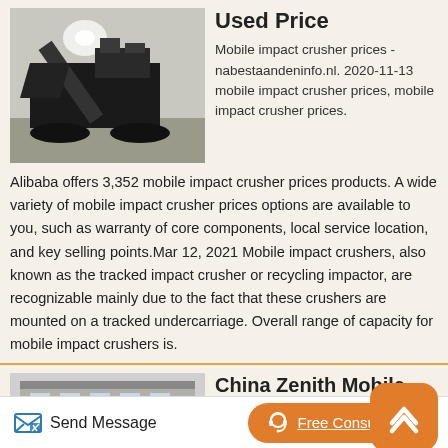[Figure (photo): A mobile impact crusher machine on tracks, photographed from the side/front in an industrial setting.]
Used Price
Mobile impact crusher prices - nabestaandeninfo.nl. 2020-11-13 mobile impact crusher prices, mobile impact crusher prices.
Alibaba offers 3,352 mobile impact crusher prices products. A wide variety of mobile impact crusher prices options are available to you, such as warranty of core components, local service location, and key selling points.Mar 12, 2021 Mobile impact crushers, also known as the tracked impact crusher or recycling impactor, are recognizable mainly due to the fact that these crushers are mounted on a tracked undercarriage. Overall range of capacity for mobile impact crushers is.
[Figure (photo): A building exterior, likely a factory or industrial facility, with a mobile impact crusher visible in front.]
China Zenith Mobile Impact Crusher Mobile
Send Message
Free Consultation